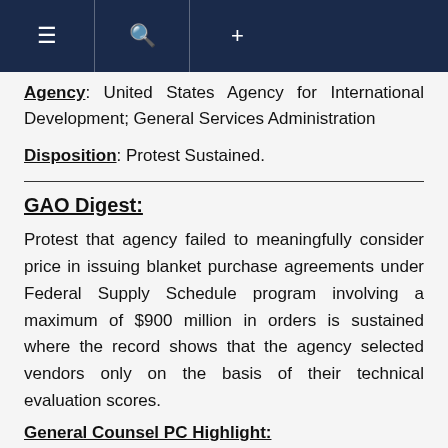≡  🔍  +
Agency: United States Agency for International Development; General Services Administration
Disposition: Protest Sustained.
GAO Digest:
Protest that agency failed to meaningfully consider price in issuing blanket purchase agreements under Federal Supply Schedule program involving a maximum of $900 million in orders is sustained where the record shows that the agency selected vendors only on the basis of their technical evaluation scores.
General Counsel PC Highlight: